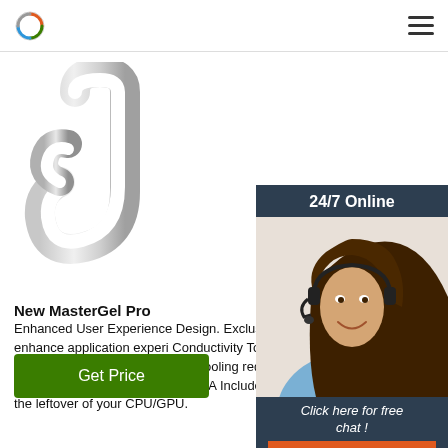[Figure (photo): Silver metal hook/carabiner product photo on white background]
[Figure (photo): 24/7 Online chat widget showing a female customer service agent wearing a headset, with 'Click here for free chat!' text and a QUOTATION orange button]
New MasterGel Pro
Enhanced User Experience Design. Exclusively fl syringe designed to enhance application experi Conductivity To Aid Heat Transfer. Range of ther conductivity that will match cooling requiremen transfer from CPU/GPU to your cooler. Precise A Includes cleaning cloth to remove the leftover of your CPU/GPU.
Get Price